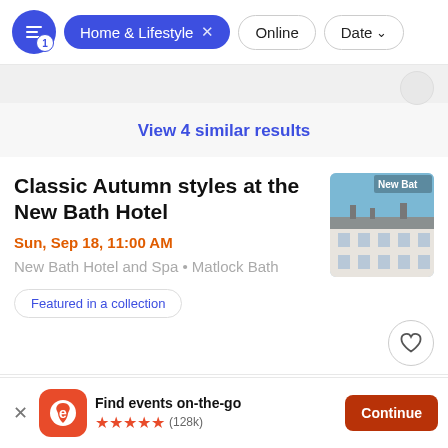Home & Lifestyle × Online  Date
View 4 similar results
Classic Autumn styles at the New Bath Hotel
Sun, Sep 18, 11:00 AM
New Bath Hotel and Spa • Matlock Bath
[Figure (photo): Photo of the New Bath Hotel building exterior with blue sky]
Featured in a collection
Find events on-the-go ★★★★★ (128k)  Continue